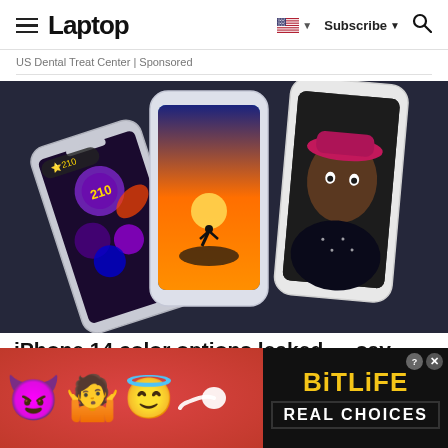Laptop | Subscribe | Search
US Dental Treat Center | Sponsored
[Figure (photo): Three iPhones displayed at angles against a dark background, showing various app screens including a game with colorful gems, a sunset scene, and a portrait of a person wearing a pink hat.]
iPhone 14 color options leaked — say
[Figure (infographic): BitLife mobile game advertisement banner with emoji characters (devil, angel, person shrugging), a sperm emoji, and BitLife logo with 'REAL CHOICES' text on a red and black background.]